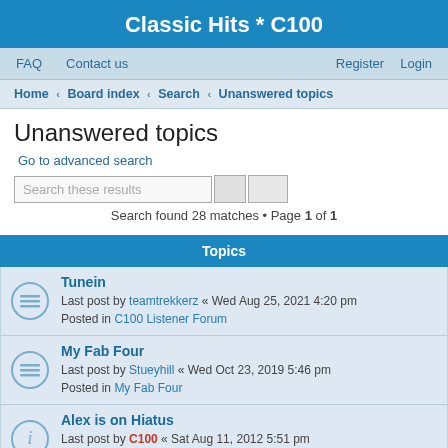Classic Hits * C100
FAQ   Contact us   Register   Login
Home > Board index > Search > Unanswered topics
Unanswered topics
Go to advanced search
Search these results
Search found 28 matches • Page 1 of 1
Topics
Tunein
Last post by teamtrekkerz « Wed Aug 25, 2021 4:20 pm
Posted in C100 Listener Forum
My Fab Four
Last post by Stueyhill « Wed Oct 23, 2019 5:46 pm
Posted in My Fab Four
Alex is on Hiatus
Last post by C100 « Sat Aug 11, 2012 5:51 pm
Posted in My Fab Four
Great music
Last post by MCMILLAN « Sat Jun 11, 2011 2:04 am
Posted in C100 Listener Forum